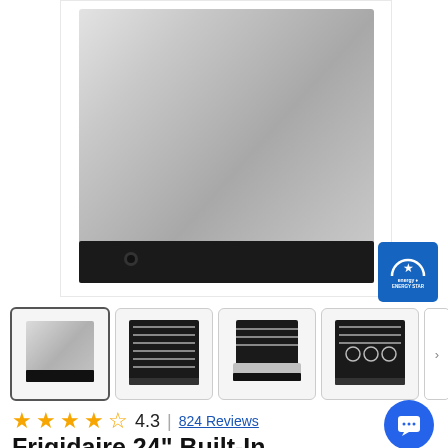[Figure (photo): Main product image of Frigidaire 24 inch built-in stainless steel dishwasher, front view, closed door]
[Figure (logo): Energy Star certification badge, blue background with white arc and star]
[Figure (photo): Four thumbnail images of dishwasher: front closed, interior racks open, front low angle, interior loaded with dishes. Navigation arrow on right.]
4.3 | 824 Reviews
Frigidaire 24" Built-In Dishwasher with